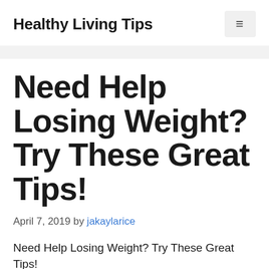Healthy Living Tips
Need Help Losing Weight? Try These Great Tips!
April 7, 2019 by jakaylarice
Need Help Losing Weight? Try These Great Tips!